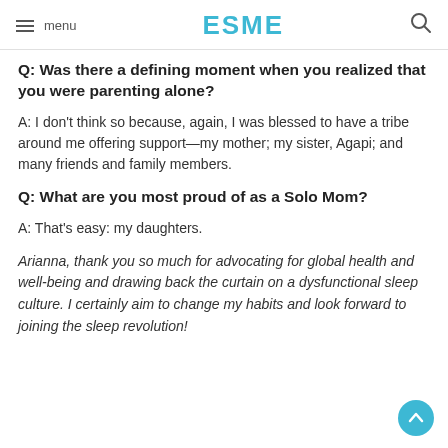menu  ESME
Q: Was there a defining moment when you realized that you were parenting alone?
A: I don't think so because, again, I was blessed to have a tribe around me offering support—my mother; my sister, Agapi; and many friends and family members.
Q: What are you most proud of as a Solo Mom?
A: That's easy: my daughters.
Arianna, thank you so much for advocating for global health and well-being and drawing back the curtain on a dysfunctional sleep culture. I certainly aim to change my habits and look forward to joining the sleep revolution!